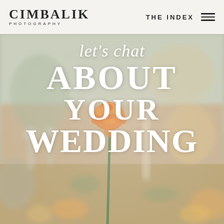CIMBALIK PHOTOGRAPHY | THE INDEX
[Figure (photo): Blurred wedding table setting with orange ranunculus flower in foreground, champagne flutes, candles, and floral arrangements in soft focus background]
let's chat ABOUT YOUR WEDDING